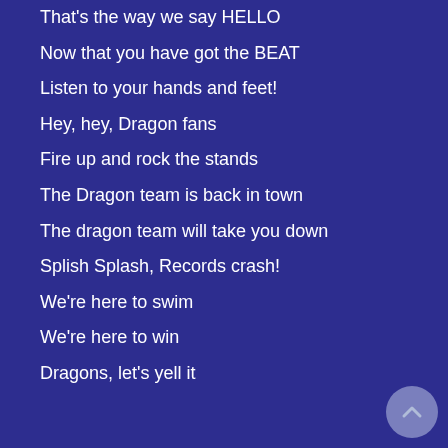That's the way we say HELLO
Now that you have got the BEAT
Listen to your hands and feet!
Hey, hey, Dragon fans
Fire up and rock the stands
The Dragon team is back in town
The dragon team will take you down
Splish Splash, Records crash!
We're here to swim
We're here to win
Dragons, let's yell it